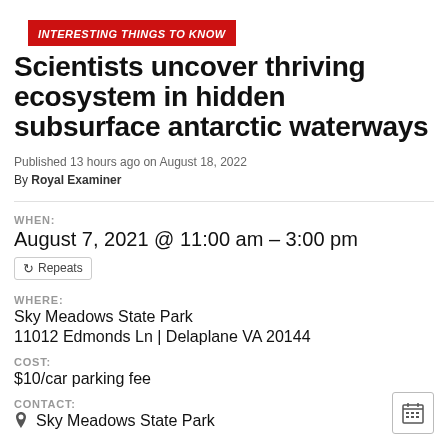INTERESTING THINGS TO KNOW
Scientists uncover thriving ecosystem in hidden subsurface antarctic waterways
Published 13 hours ago on August 18, 2022
By Royal Examiner
WHEN:
August 7, 2021 @ 11:00 am – 3:00 pm
Repeats
WHERE:
Sky Meadows State Park
11012 Edmonds Ln | Delaplane VA 20144
COST:
$10/car parking fee
CONTACT:
Sky Meadows State Park